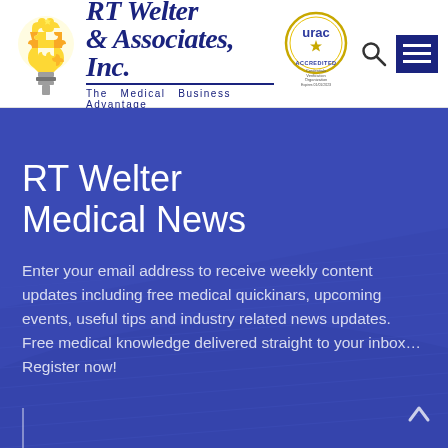[Figure (logo): RT Welter & Associates, Inc. logo with puzzle-piece lightbulb graphic, URAC Accredited badge, search icon, and hamburger menu]
RT Welter Medical News
Enter your email address to receive weekly content updates including free medical quickinars, upcoming events, useful tips and industry related news updates. Free medical knowledge delivered straight to your inbox… Register now!